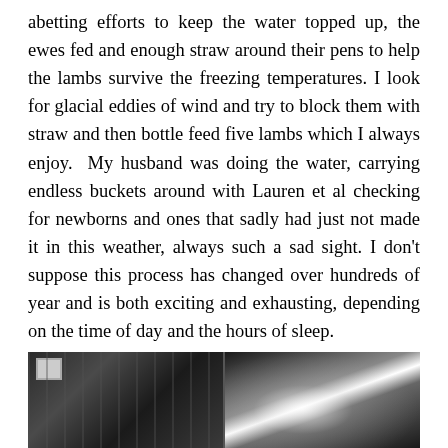abetting efforts to keep the water topped up, the ewes fed and enough straw around their pens to help the lambs survive the freezing temperatures. I look for glacial eddies of wind and try to block them with straw and then bottle feed five lambs which I always enjoy.  My husband was doing the water, carrying endless buckets around with Lauren et al checking for newborns and ones that sadly had just not made it in this weather, always such a sad sight. I don't suppose this process has changed over hundreds of year and is both exciting and exhausting, depending on the time of day and the hours of sleep.
[Figure (photo): Two side-by-side photographs of what appears to be a barn or farm building interior/exterior. The left photo shows a dark barn interior with vertical slats or boards and a small light-colored rectangular element (possibly a sign or window) in the upper left. The right photo shows a bright light source (possibly a floodlight or the sun) illuminating a dark barn or shed structure from inside.]